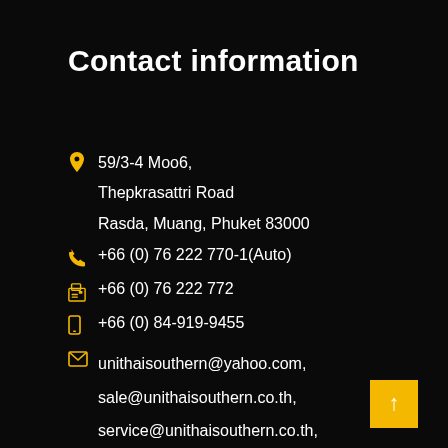Contact information
59/3-4 Moo6, Thepkrasattri Road Rasda, Muang, Phuket 83000
+66 (0) 76 222 770-1(Auto)
+66 (0) 76 222 772
+66 (0) 84-919-9455
unithaisouthern@yahoo.com, sale@unithaisouthern.co.th, service@unithaisouthern.co.th, panya@unithaisouthern.co.th